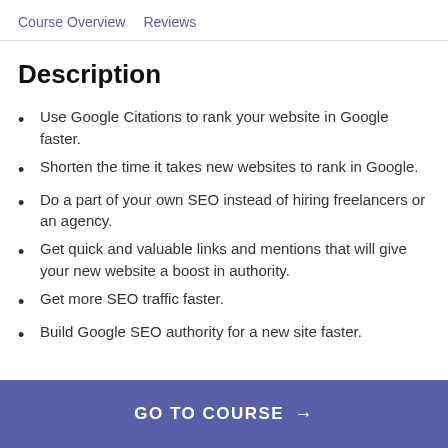Course Overview   Reviews
Description
Use Google Citations to rank your website in Google faster.
Shorten the time it takes new websites to rank in Google.
Do a part of your own SEO instead of hiring freelancers or an agency.
Get quick and valuable links and mentions that will give your new website a boost in authority.
Get more SEO traffic faster.
Build Google SEO authority for a new site faster.
GO TO COURSE →